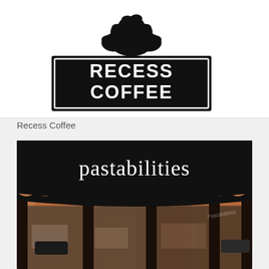[Figure (logo): Recess Coffee logo: black rectangular sign with white distressed text 'RECESS COFFEE' and a tree illustration on top, mounted on a post with a base]
Recess Coffee
[Figure (photo): Pastabilities restaurant storefront photo: black awning with white text 'pastabilities' in lowercase, large windows reflecting street scene with brick buildings, dark wood pillars]